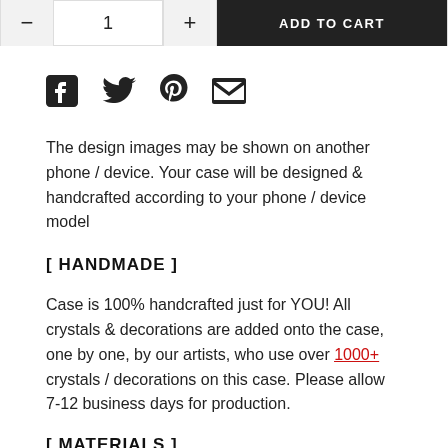[Figure (screenshot): Add to cart UI bar with minus button, quantity (1), plus button, and ADD TO CART button]
[Figure (infographic): Social sharing icons: Facebook, Twitter, Pinterest, Email]
The design images may be shown on another phone / device. Your case will be designed & handcrafted according to your phone / device model
[ HANDMADE ]
Case is 100% handcrafted just for YOU! All crystals & decorations are added onto the case, one by one, by our artists, who use over 1000+ crystals / decorations on this case. Please allow 7-12 business days for production.
[ MATERIALS ]
Each and every crystal & décor is handpicked by us with highest